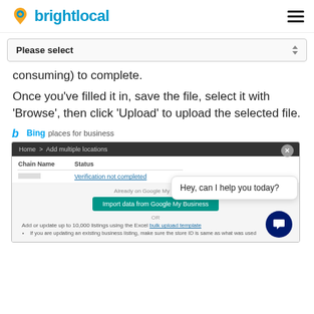brightlocal
[Figure (screenshot): Dropdown select box with 'Please select' text and up/down arrows]
consuming) to complete.
Once you've filled it in, save the file, select it with 'Browse', then click 'Upload' to upload the selected file.
[Figure (screenshot): Bing Places for Business screenshot showing Add multiple locations page with Chain Name/Status table, Import data from Google My Business button, bulk upload template link, and a chat popup saying 'Hey, can I help you today?']